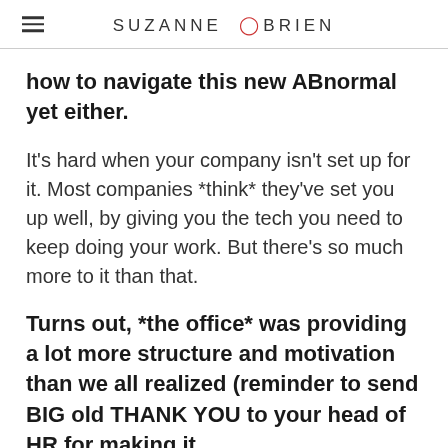SUZANNE OBRIEN
how to navigate this new ABnormal yet either.
It's hard when your company isn't set up for it. Most companies *think* they've set you up well, by giving you the tech you need to keep doing your work. But there's so much more to it than that.
Turns out, *the office* was providing a lot more structure and motivation than we all realized (reminder to send BIG old THANK YOU to your head of HR for making it